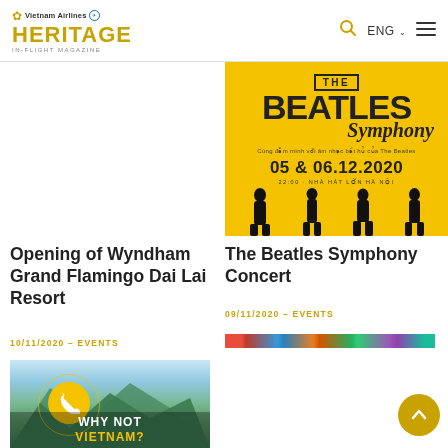Vietnam Airlines Heritage In-Flight Magazine
[Figure (photo): Beatles Symphony Concert promotional poster with yellow background, silhouettes, date 05 & 06.12.2020]
Opening of Wyndham Grand Flamingo Dai Lai Resort
10/11/2020 – EVENTS
The Beatles Symphony Concert
09/11/2020 – EVENTS
[Figure (photo): Why Not Vietnam promotional image with mountain landscape and phone icon]
[Figure (photo): Partially visible image strip with colorful flag]